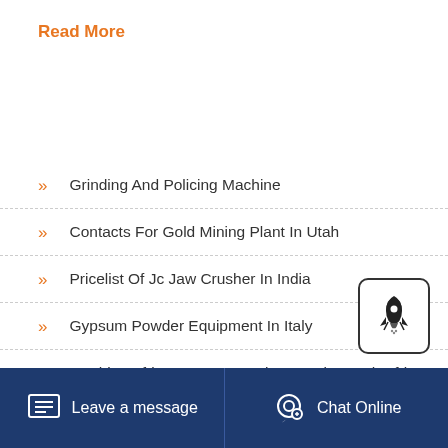Read More
Grinding And Policing Machine
Contacts For Gold Mining Plant In Utah
Pricelist Of Jc Jaw Crusher In India
Gypsum Powder Equipment In Italy
Machine Africa Conveyor Belt For Sale South Africa
Leave a message  Chat Online